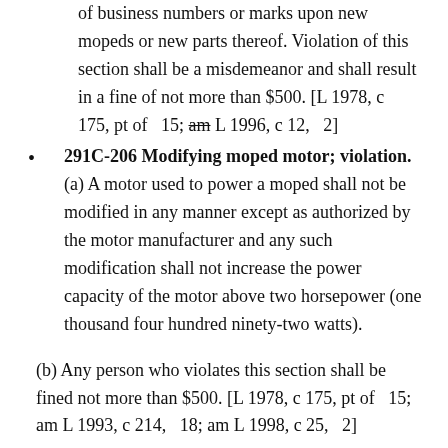manufacturer from placing in the ordinary course of business numbers or marks upon new mopeds or new parts thereof. Violation of this section shall be a misdemeanor and shall result in a fine of not more than $500. [L 1978, c 175, pt of  15; am L 1996, c 12,  2]
291C-206 Modifying moped motor; violation. (a) A motor used to power a moped shall not be modified in any manner except as authorized by the motor manufacturer and any such modification shall not increase the power capacity of the motor above two horsepower (one thousand four hundred ninety-two watts).
(b) Any person who violates this section shall be fined not more than $500. [L 1978, c 175, pt of  15; am L 1993, c 214,  18; am L 1998, c 25,  2]